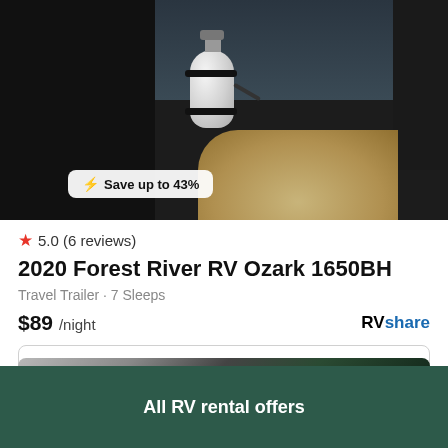[Figure (photo): RV travel trailer showing propane tank strapped in, dark panels, gravel background. Badge overlay reads: ⚡ Save up to 43%]
★ 5.0 (6 reviews)
2020 Forest River RV Ozark 1650BH
Travel Trailer · 7 Sleeps
$89 /night
RVshare
View deal
[Figure (photo): Partial view of a grey RV with trees in background]
All RV rental offers